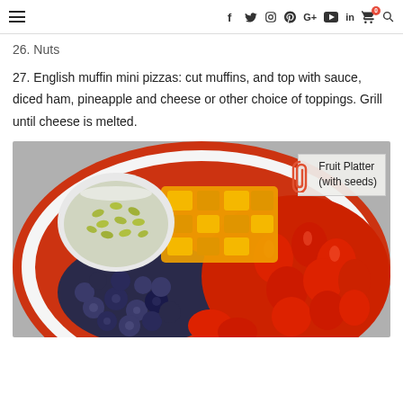Navigation bar with hamburger menu and social icons: f, twitter, instagram, pinterest, G+, youtube, in, cart(0), search
26. Nuts
27. English muffin mini pizzas: cut muffins, and top with sauce, diced ham, pineapple and cheese or other choice of toppings. Grill until cheese is melted.
[Figure (photo): A fruit platter on a red and white striped plate with blueberries, sliced strawberries, diced pineapple, and a bowl of seeds (pumpkin seeds). A sticky note label reads 'Fruit Platter (with seeds)'.]